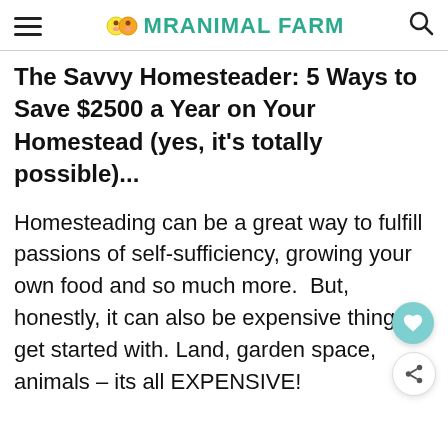MRANIMAL FARM
The Savvy Homesteader: 5 Ways to Save $2500 a Year on Your Homestead (yes, it’s totally possible)...
Homesteading can be a great way to fulfill passions of self-sufficiency, growing your own food and so much more.  But, honestly, it can also be expensive thing to get started with. Land, garden space, animals – its all EXPENSIVE!